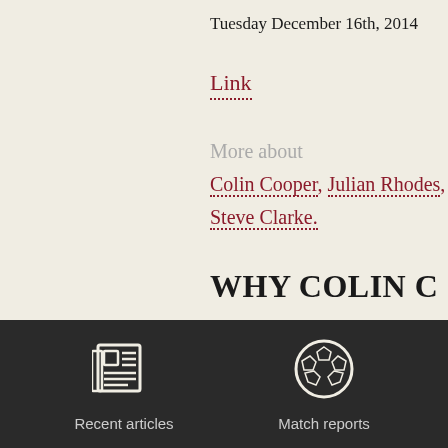Tuesday December 16th, 2014
Link
More about
Colin Cooper, Julian Rhodes, Steve Clarke.
WHY COLIN C
[Figure (infographic): Dark footer bar with two navigation icons: a newspaper icon labeled 'Recent articles' and a soccer ball icon labeled 'Match reports']